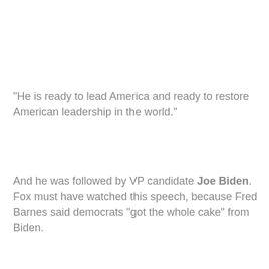"He is ready to lead America and ready to restore American leadership in the world."
And he was followed by VP candidate Joe Biden. Fox must have watched this speech, because Fred Barnes said democrats "got the whole cake" from Biden.